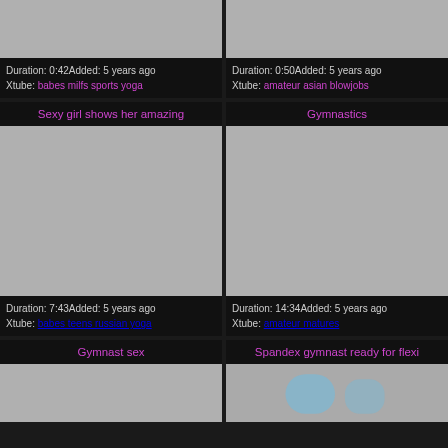[Figure (screenshot): Grey thumbnail image top left]
Duration: 0:42Added: 5 years ago
Xtube: babes milfs sports yoga
[Figure (screenshot): Grey thumbnail image top right]
Duration: 0:50Added: 5 years ago
Xtube: amateur asian blowjobs
Sexy girl shows her amazing
Gymnastics
[Figure (screenshot): Grey thumbnail middle left]
Duration: 7:43Added: 5 years ago
Xtube: babes teens russian yoga
[Figure (screenshot): Grey thumbnail middle right]
Duration: 14:34Added: 5 years ago
Xtube: amateur matures
Gymnast sex
Spandex gymnast ready for flexi
[Figure (screenshot): Grey thumbnail bottom left]
[Figure (photo): Photo thumbnail bottom right]